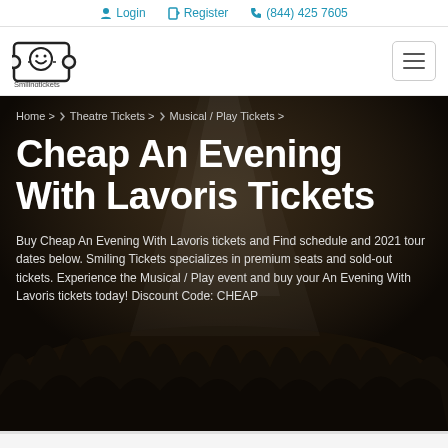Login  Register  (844) 425 7605
[Figure (logo): Smiling Tickets logo — smiley face in a ticket shape with text 'Smilingtickets' below]
Home >  Theatre Tickets >  Musical / Play Tickets >
Cheap An Evening With Lavoris Tickets
Buy Cheap An Evening With Lavoris tickets and Find schedule and 2021 tour dates below. Smiling Tickets specializes in premium seats and sold-out tickets. Experience the Musical / Play event and buy your An Evening With Lavoris tickets today! Discount Code: CHEAP